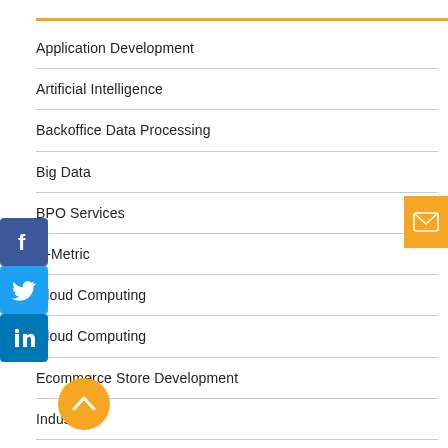Application Development
Artificial Intelligence
Backoffice Data Processing
Big Data
BPO Services
C-Metric
Cloud Computing
Cloud Computing
Ecommerce Store Development
Industry
[Figure (illustration): Social media share icons: Facebook (blue), Twitter (light blue), LinkedIn (dark blue), and an email button (orange) on the right edge. An orange circular back-to-top button with a chevron arrow at the bottom left.]